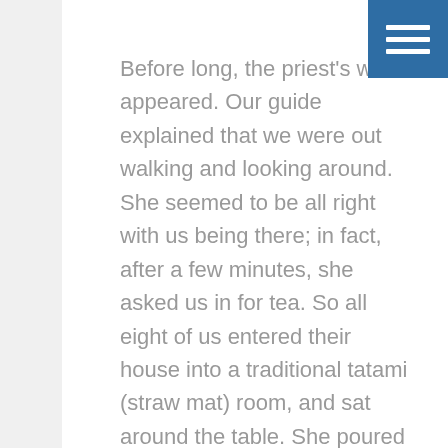Before long, the priest's wife appeared. Our guide explained that we were out walking and looking around. She seemed to be all right with us being there; in fact, after a few minutes, she asked us in for tea. So all eight of us entered their house into a traditional tatami (straw mat) room, and sat around the table. She poured green tea for all of us, and passed around Japanese sweets called okashi – a slightly sweet, powdery-tasting morsel.

Then, the priest led us into the interior